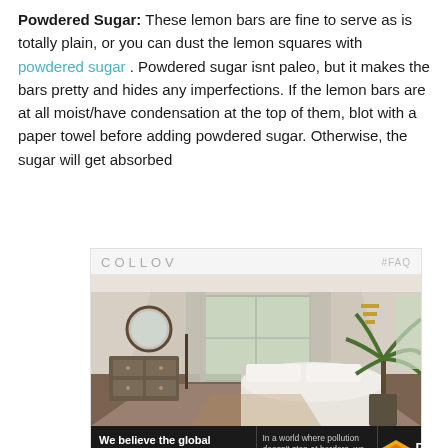Powdered Sugar: These lemon bars are fine to serve as is totally plain, or you can dust the lemon squares with powdered sugar. Powdered sugar isnt paleo, but it makes the bars pretty and hides any imperfections. If the lemon bars are at all moist/have condensation at the top of them, blot with a paper towel before adding powdered sugar. Otherwise, the sugar will get absorbed
[Figure (screenshot): Advertisement for COLLOV interior design with #FAQ tag, showing a bedroom with white bedding, a round mirror, dresser, and palm plant. Below is a Pure Earth pollution awareness ad banner.]